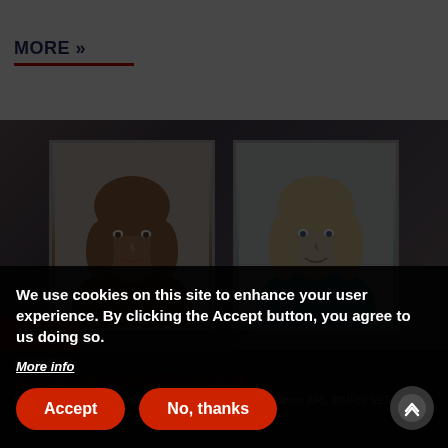MORE »
[Figure (photo): Two portrait photos of women side by side on a dark blurred background, with a red NEWS badge in the lower left.]
04/06/2020
Krisun and Heidi Promoted
Congratulations are due for the following SURVICE...former ARL WMRD SETA
We use cookies on this site to enhance your user experience. By clicking the Accept button, you agree to us doing so.
More info
Accept
No, thanks